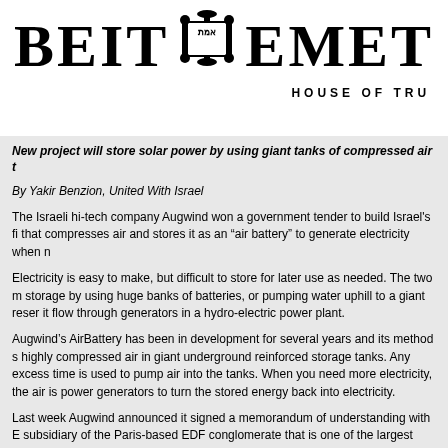[Figure (logo): Beit Emet House of Truth logo with Torah scroll emblem, large bold serif text]
New project will store solar power by using giant tanks of compressed air t
By Yakir Benzion, United With Israel
The Israeli hi-tech company Augwind won a government tender to build Israel's fi that compresses air and stores it as an "air battery" to generate electricity when n
Electricity is easy to make, but difficult to store for later use as needed. The two m storage by using huge banks of batteries, or pumping water uphill to a giant reser it flow through generators in a hydro-electric power plant.
Augwind's AirBattery has been in development for several years and its method s highly compressed air in giant underground reinforced storage tanks. Any excess time is used to pump air into the tanks. When you need more electricity, the air is power generators to turn the stored energy back into electricity.
Last week Augwind announced it signed a memorandum of understanding with E subsidiary of the Paris-based EDF conglomerate that is one of the largest multina